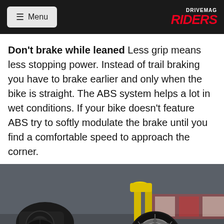≡ Menu | DRIVEMAG RIDERS
Don't brake while leaned Less grip means less stopping power. Instead of trail braking you have to brake earlier and only when the bike is straight. The ABS system helps a lot in wet conditions. If your bike doesn't feature ABS try to softly modulate the brake until you find a comfortable speed to approach the corner.
[Figure (photo): Yellow motorcycle tires splashing through wet road surface, close-up shot showing front wheel and brake disc with water spray]